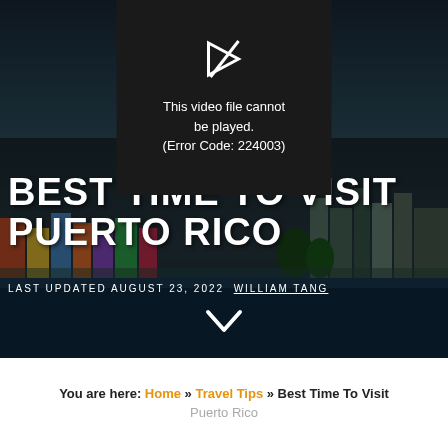[Figure (screenshot): Video error message box with crossed play icon and text: This video file cannot be played. (Error Code: 224003)]
BEST TIME TO VISIT PUERTO RICO
LAST UPDATED AUGUST 23, 2022 WILLIAM TANG
[Figure (photo): Aerial/coastal view of Puerto Rico with colorful buildings along the shore, dark overlay]
You are here: Home >> Travel Tips >> Best Time To Visit Puerto Rico